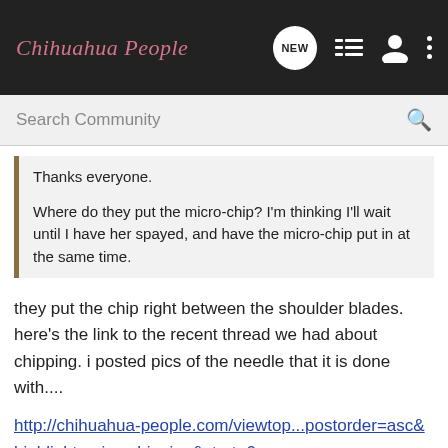Chihuahua People
Search Community
Thanks everyone.

Where do they put the micro-chip? I'm thinking I'll wait until I have her spayed, and have the micro-chip put in at the same time.
they put the chip right between the shoulder blades. here's the link to the recent thread we had about chipping. i posted pics of the needle that it is done with....
http://chihuahua-people.com/viewtop...postorder=asc&highlight=microchipping&start=0
some day it is painless for them, like a vaccine injection but others say it hurts a little more than vaccines. i'm going to get